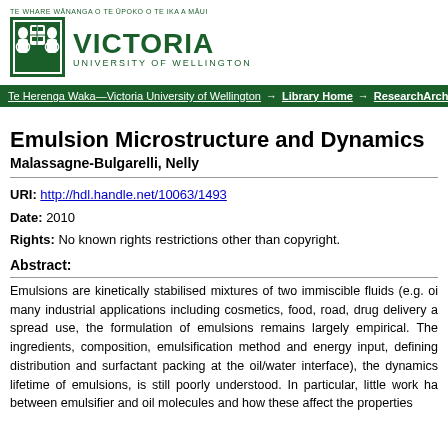[Figure (logo): Victoria University of Wellington logo with crest and text]
Te Herenga Waka—Victoria University of Wellington → Library Home → ResearchArchive
Emulsion Microstructure and Dynamics
Malassagne-Bulgarelli, Nelly
URI: http://hdl.handle.net/10063/1493
Date: 2010
Rights: No known rights restrictions other than copyright.
Abstract:
Emulsions are kinetically stabilised mixtures of two immiscible fluids (e.g. oi many industrial applications including cosmetics, food, road, drug delivery a spread use, the formulation of emulsions remains largely empirical. The ingredients, composition, emulsification method and energy input, defining distribution and surfactant packing at the oil/water interface), the dynamics lifetime of emulsions, is still poorly understood. In particular, little work ha between emulsifier and oil molecules and how these affect the properties